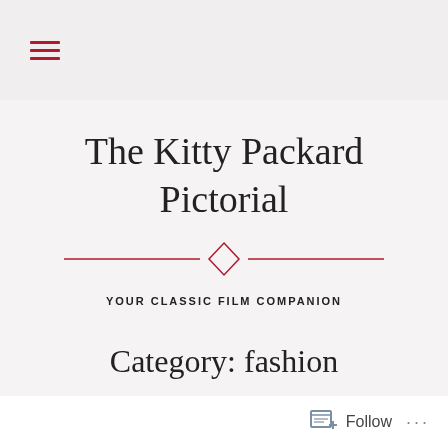☰ (hamburger menu icon)
The Kitty Packard Pictorial
[Figure (illustration): Decorative diamond and horizontal line divider in crimson/pink]
YOUR CLASSIC FILM COMPANION
Category: fashion
FILM FASHION FRENZY: CINEMA FASHION SHOPS OF THE 1930S
[Figure (illustration): Decorative diamond and horizontal line divider in crimson/pink]
Follow ...